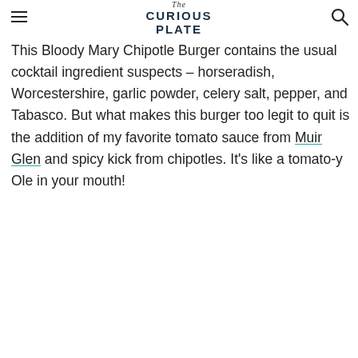The Curious Plate
This Bloody Mary Chipotle Burger contains the usual cocktail ingredient suspects – horseradish, Worcestershire, garlic powder, celery salt, pepper, and Tabasco. But what makes this burger too legit to quit is the addition of my favorite tomato sauce from Muir Glen and spicy kick from chipotles. It's like a tomato-y Ole in your mouth!